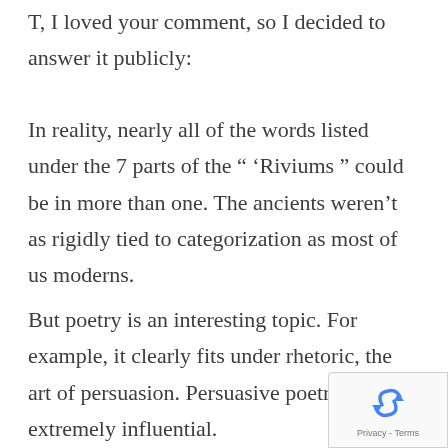T, I loved your comment, so I decided to answer it publicly:
In reality, nearly all of the words listed under the 7 parts of the “ ‘Riviums ” could be in more than one. The ancients weren’t as rigidly tied to categorization as most of us moderns.
But poetry is an interesting topic. For example, it clearly fits under rhetoric, the art of persuasion. Persuasive poetry can be extremely influential.
[Figure (logo): reCAPTCHA badge with recycling-arrow icon and 'Privacy - Terms' text]